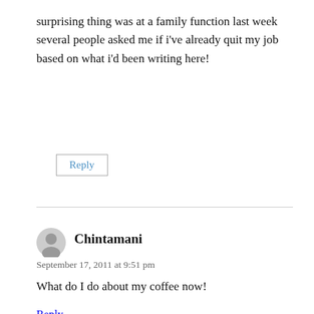surprising thing was at a family function last week several people asked me if i’ve already quit my job based on what i’d been writing here!
Reply
Chintamani
September 17, 2011 at 9:51 pm
What do I do about my coffee now!
Reply